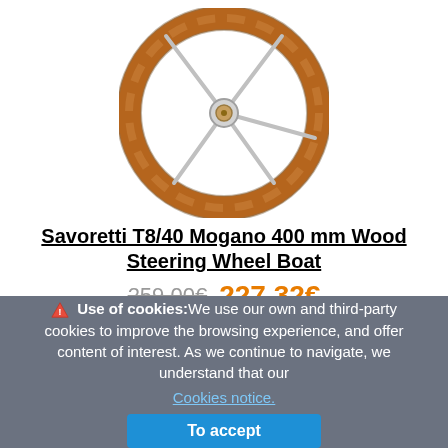[Figure (photo): A wooden boat steering wheel (Savoretti T8/40 Mogano) with mahogany wood rim and silver metal spokes, photographed on white background.]
Savoretti T8/40 Mogano 400 mm Wood Steering Wheel Boat
259,00€  227,32€  Stock out 02 days 03:02:53
⚠ Use of cookies: We use our own and third-party cookies to improve the browsing experience, and offer content of interest. As we continue to navigate, we understand that our Cookies notice.
To accept